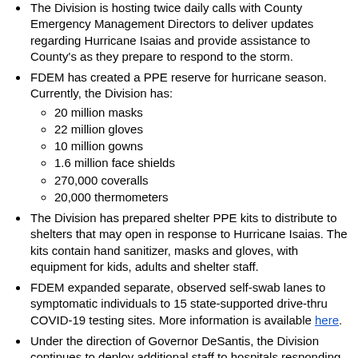The Division is hosting twice daily calls with County Emergency Management Directors to deliver updates regarding Hurricane Isaias and provide assistance to County's as they prepare to respond to the storm.
FDEM has created a PPE reserve for hurricane season. Currently, the Division has: 20 million masks, 22 million gloves, 10 million gowns, 1.6 million face shields, 270,000 coveralls, 20,000 thermometers
The Division has prepared shelter PPE kits to distribute to shelters that may open in response to Hurricane Isaias. The kits contain hand sanitizer, masks and gloves, with equipment for kids, adults and shelter staff.
FDEM expanded separate, observed self-swab lanes to symptomatic individuals to 15 state-supported drive-thru COVID-19 testing sites. More information is available here.
Under the direction of Governor DeSantis, the Division continues to deploy additional staff to hospitals responding to COVID-19 across the state. To date, 2,101 nurses have been deployed to support hospitals statewide.
To date, the Agency for Health Care Administration (AHCA) has made more than 4,300 onsite visits to facilities and more than 43,400 telephone calls to residential providers statewide to provide support and determine emergent needs of facilities.
This week, AHCA held a call with the Florida Health Care Association and partner long-term care facilities to discuss the